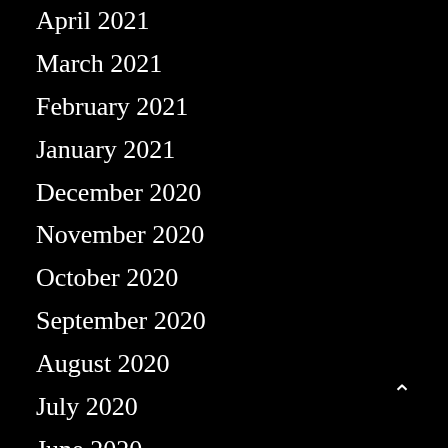April 2021
March 2021
February 2021
January 2021
December 2020
November 2020
October 2020
September 2020
August 2020
July 2020
June 2020
May 2020
April 2020
March 2020
February 2020
January 2020